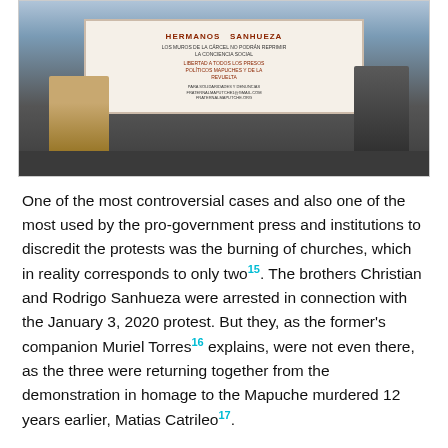[Figure (photo): People holding a protest banner for the Sanhueza brothers at a demonstration]
One of the most controversial cases and also one of the most used by the pro-government press and institutions to discredit the protests was the burning of churches, which in reality corresponds to only two15. The brothers Christian and Rodrigo Sanhueza were arrested in connection with the January 3, 2020 protest. But they, as the former's companion Muriel Torres16 explains, were not even there, as the three were returning together from the demonstration in homage to the Mapuche murdered 12 years earlier, Matias Catrileo17.